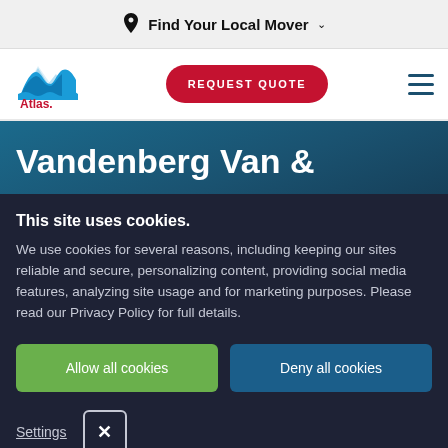Find Your Local Mover
[Figure (logo): Atlas Van Lines logo with blue mountain/wave icon and red 'Atlas.' text]
REQUEST QUOTE
Vandenberg Van &
This site uses cookies.
We use cookies for several reasons, including keeping our sites reliable and secure, personalizing content, providing social media features, analyzing site usage and for marketing purposes. Please read our Privacy Policy for full details.
Allow all cookies
Deny all cookies
Settings